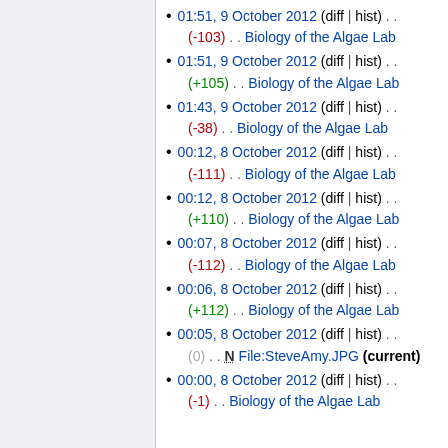01:51, 9 October 2012 (diff | hist) . . (-103) . . Biology of the Algae Lab
01:51, 9 October 2012 (diff | hist) . . (+105) . . Biology of the Algae Lab
01:43, 9 October 2012 (diff | hist) . . (-38) . . Biology of the Algae Lab
00:12, 8 October 2012 (diff | hist) . . (-111) . . Biology of the Algae Lab
00:12, 8 October 2012 (diff | hist) . . (+110) . . Biology of the Algae Lab
00:07, 8 October 2012 (diff | hist) . . (-112) . . Biology of the Algae Lab
00:06, 8 October 2012 (diff | hist) . . (+112) . . Biology of the Algae Lab
00:05, 8 October 2012 (diff | hist) . . (0) . . N File:SteveAmy.JPG (current)
00:00, 8 October 2012 (diff | hist) . . (-1) . . Biology of the Algae Lab